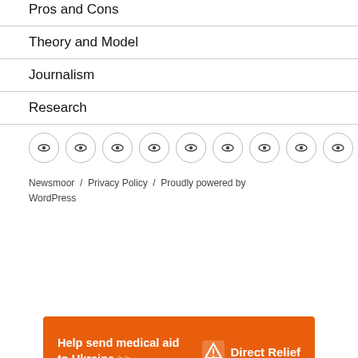Pros and Cons
Theory and Model
Journalism
Research
[Figure (other): Row of 9 social media icon circles with a eye/lens icon]
Newsmoor / Privacy Policy / Proudly powered by WordPress
[Figure (infographic): Orange advertisement banner: Help send medical aid to Ukraine >> with Direct Relief logo]